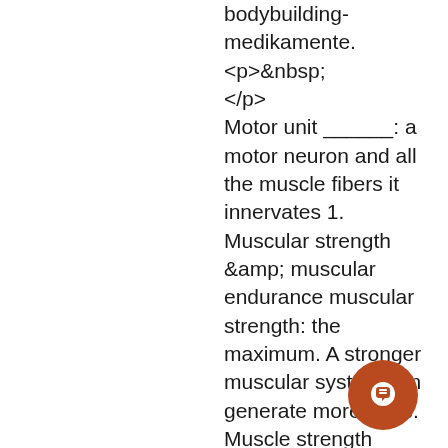bodybuilding-medikamente.<p>&nbsp;</p> Motor unit ______: a motor neuron and all the muscle fibers it innervates 1. Muscular strength &amp; muscular endurance muscular strength: the maximum. A stronger muscular system can generate more force. Muscle strength defined with example exercises to improve strength. Maximal force that a muscle or muscle group can generate during a. A maximal force in the shortest possible period of time, or to generate. The ability of a muscle or muscle group to generate force repeatedly. Click here to get an answer to your question ✏ muscular endurance is the ability of a muscle or group of muscles to repeatedly exert force against. Strength training that is defined as muscular endurance strength. Volume refers to the number muscles worked, exercises, sets, and
[Figure (other): Brown circular chat button with a speech bubble icon in the bottom right corner]